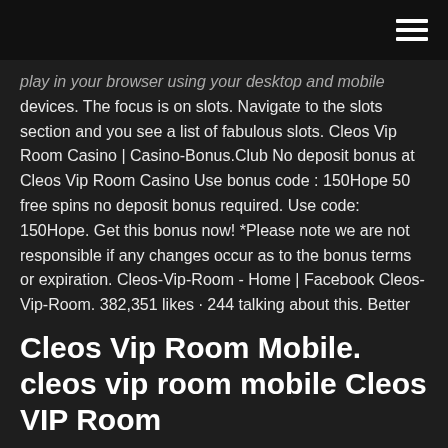[hamburger menu icon]
play in your browser using your desktop and mobile devices. The focus is on slots. Navigate to the slots section and you see a list of fabulous slots. Cleos Vip Room Casino | Casino-Bonus.Club No deposit bonus at Cleos Vip Room Casino Use bonus code : 150Hope 50 free spins no deposit bonus required. Use code: 150Hope. Get this bonus now! *Please note we are not responsible if any changes occur as to the bonus terms or expiration. Cleos-Vip-Room - Home | Facebook Cleos-Vip-Room. 382,351 likes · 244 talking about this. Better than a Casino! Discover why and get Great Value, Great FUN and Great VIP Service!
Cleos Vip Room Mobile. cleos vip room mobile Cleos VIP Room